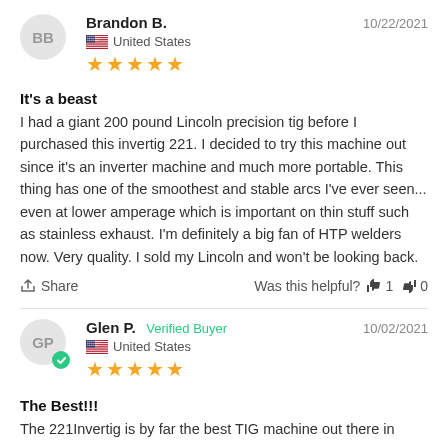Brandon B.   10/22/2021  United States  ★★★★★
It's a beast
I had a giant 200 pound Lincoln precision tig before I purchased this invertig 221. I decided to try this machine out since it's an inverter machine and much more portable. This thing has one of the smoothest and stable arcs I've ever seen... even at lower amperage which is important on thin stuff such as stainless exhaust. I'm definitely a big fan of HTP welders now. Very quality. I sold my Lincoln and won't be looking back.
Share   Was this helpful?  👍 1  👎 0
Glen P.  Verified Buyer   10/02/2021  United States  ★★★★★
The Best!!!
The 221Invertig is by far the best TIG machine out there in